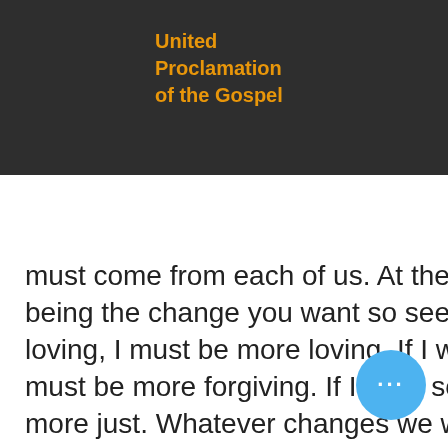United Proclamation of the Gospel
must come from each of us. At the gathering many talked about being the change you want so see. If I want society to be more loving, I must be more loving. If I want society to be more forgiving, I must be more forgiving. If I want society to be more just, I must be more just. Whatever changes we want to see must come first from us. I know that it is not easy, and I know that some will say what change can one person possibly make? I do kno that Jesus' death and resurrection